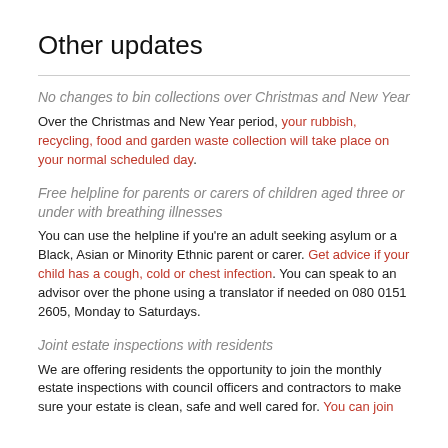Other updates
No changes to bin collections over Christmas and New Year
Over the Christmas and New Year period, your rubbish, recycling, food and garden waste collection will take place on your normal scheduled day.
Free helpline for parents or carers of children aged three or under with breathing illnesses
You can use the helpline if you're an adult seeking asylum or a Black, Asian or Minority Ethnic parent or carer. Get advice if your child has a cough, cold or chest infection. You can speak to an advisor over the phone using a translator if needed on 080 0151 2605, Monday to Saturdays.
Joint estate inspections with residents
We are offering residents the opportunity to join the monthly estate inspections with council officers and contractors to make sure your estate is clean, safe and well cared for. You can join